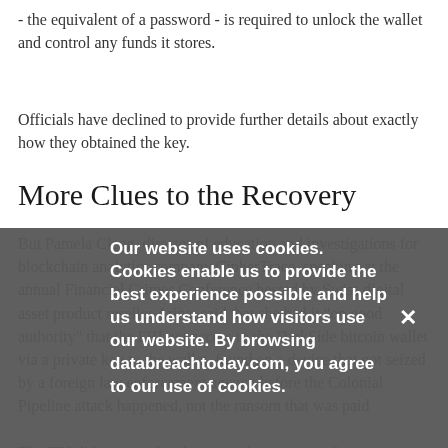- the equivalent of a password - is required to unlock the wallet and control any funds it stores.
Officials have declined to provide further details about exactly how they obtained the key.
More Clues to the Recovery
But Pamela Clegg, director of education and investigations for blockchain analytics company CipherTrace, speaking at the annual Financial Crimes Conference hosted by Swiss digital asset product reseller Arina, said that she had it "on good authority" that the FBI got access to the DarkSide bitcoin wallet via a private key to the wallet, found on a device that got seized by a foreign law enforcement agency before the Colonial Pipeline attack happened, not the ransom that was paid
The FBI didn't immediately respond to a request for
Our website uses cookies. Cookies enable us to provide the best experience possible and help us understand how visitors use our website. By browsing databreachtoday.com, you agree to our use of cookies.